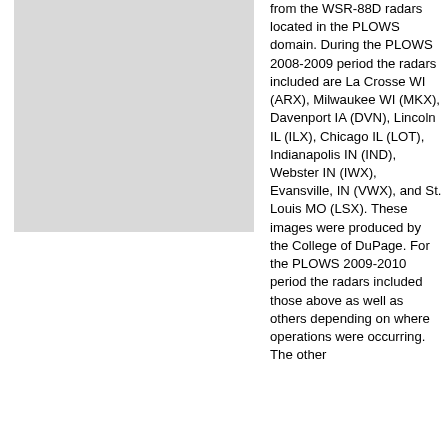[Figure (other): Light gray rectangular placeholder image on the left column of the page.]
from the WSR-88D radars located in the PLOWS domain. During the PLOWS 2008-2009 period the radars included are La Crosse WI (ARX), Milwaukee WI (MKX), Davenport IA (DVN), Lincoln IL (ILX), Chicago IL (LOT), Indianapolis IN (IND), Webster IN (IWX), Evansville, IN (VWX), and St. Louis MO (LSX). These images were produced by the College of DuPage. For the PLOWS 2009-2010 period the radars included those above as well as others depending on where operations were occurring. The other